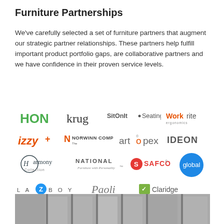Furniture Partnerships
We've carefully selected a set of furniture partners that augment our strategic partner relationships. These partners help fulfill important product portfolio gaps, are collaborative partners and we have confidence in their proven service levels.
[Figure (logo): Grid of furniture partner logos: HON, krug, SitOnIt Seating, Workrite Ergonomics, izzy+, Norwinn Company, artopex, IDEON, Harmony Collection, National Furniture with Personality, SAFCO, global (blue circle), LA-Z-BOY, Paoli, Claridge]
[Figure (photo): Photograph of a building exterior with large windows, partially visible, appears to be a commercial or institutional space]